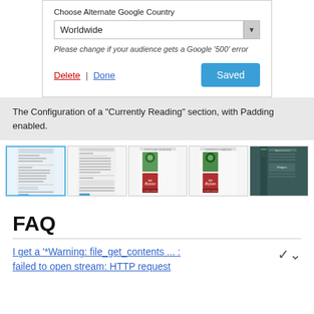[Figure (screenshot): UI panel showing 'Choose Alternate Google Country' dropdown set to 'Worldwide', italic help text, Delete and Done links, and a Saved button]
The Configuration of a "Currently Reading" section, with Padding enabled.
[Figure (screenshot): Five thumbnail screenshots showing different states of a Currently Reading widget configuration and appearance]
FAQ
I get a '*Warning: file_get_contents ... : failed to open stream: HTTP request